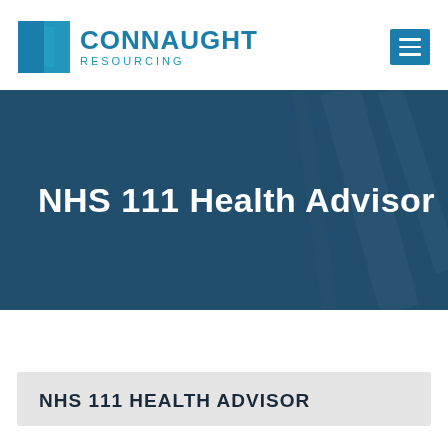[Figure (logo): Connaught Resourcing logo with blue square icon and text]
NHS 111 Health Advisor
NHS 111 HEALTH ADVISOR